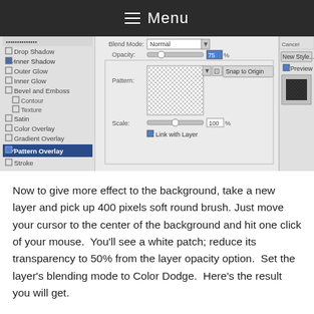≡ Menu
[Figure (screenshot): Photoshop Layer Style dialog showing Pattern Overlay settings with blend mode Normal, opacity slider, pattern picker with crosshatch pattern, Snap to Origin button, Scale slider at 100%, Link with Layer checkbox. Left panel shows layer effects list with Pattern Overlay highlighted in blue.]
Now to give more effect to the background, take a new layer and pick up 400 pixels soft round brush. Just move your cursor to the center of the background and hit one click of your mouse.  You'll see a white patch; reduce its transparency to 50% from the layer opacity option.  Set the layer's blending mode to Color Dodge.  Here's the result you will get.